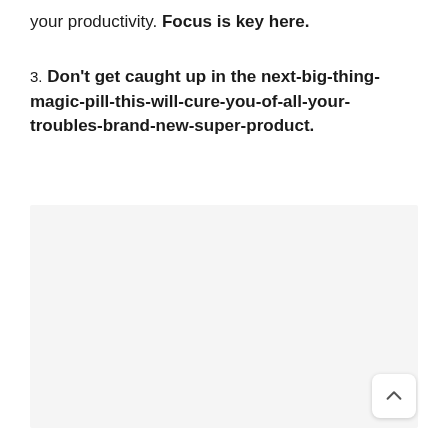your productivity. Focus is key here.
3. Don't get caught up in the next-big-thing-magic-pill-this-will-cure-you-of-all-your-troubles-brand-new-super-product.
[Figure (other): Large light gray placeholder image area]